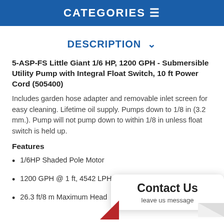CATEGORIES ≡
DESCRIPTION ∨
5-ASP-FS Little Giant 1/6 HP, 1200 GPH - Submersible Utility Pump with Integral Float Switch, 10 ft Power Cord (505400)
Includes garden hose adapter and removable inlet screen for easy cleaning. Lifetime oil supply. Pumps down to 1/8 in (3.2 mm.). Pump will not pump down to within 1/8 in unless float switch is held up.
Features
1/6HP Shaded Pole Motor
1200 GPH @ 1 ft, 4542 LPH @ 30 cm. Maximum flow rate
26.3 ft/8 m Maximum Head